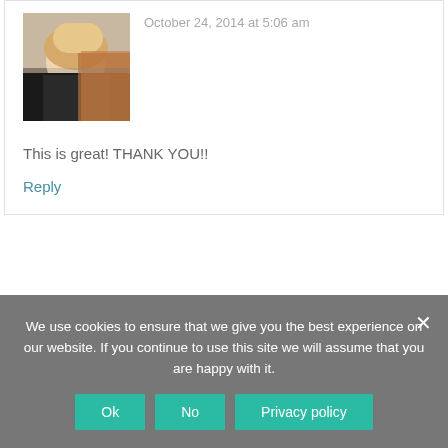October 24, 2014 at 5:06 am
[Figure (photo): Profile photo of a blonde woman smiling, brick background]
This is great! THANK YOU!!
Reply
JOANN SAYS
[Figure (photo): Gray placeholder avatar with circle]
We use cookies to ensure that we give you the best experience on our website. If you continue to use this site we will assume that you are happy with it.